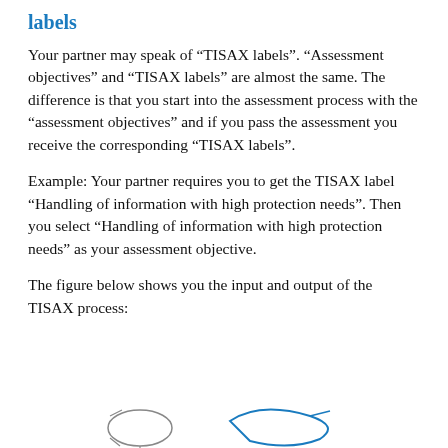labels
Your partner may speak of “TISAX labels”. “Assessment objectives” and “TISAX labels” are almost the same. The difference is that you start into the assessment process with the “assessment objectives” and if you pass the assessment you receive the corresponding “TISAX labels”.
Example: Your partner requires you to get the TISAX label “Handling of information with high protection needs”. Then you select “Handling of information with high protection needs” as your assessment objective.
The figure below shows you the input and output of the TISAX process:
[Figure (illustration): Partial view of a diagram showing input and output of the TISAX process, partially visible at the bottom of the page.]